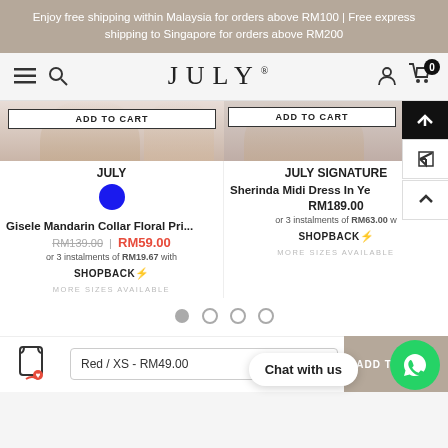Enjoy free shipping within Malaysia for orders above RM100 | Free express shipping to Singapore for orders above RM200
[Figure (screenshot): JULY brand logo navigation bar with hamburger menu, search icon, account icon, and cart (0) icon]
[Figure (photo): Product image left: Gisele Mandarin Collar Floral Print dress, partial crop showing hands/fabric. 'ADD TO CART' button overlay area. Brand label JULY with blue color swatch dot.]
Gisele Mandarin Collar Floral Pri...
RM139.00 | RM59.00
or 3 instalments of RM19.67 with SHOPBACK⚡
MORE SIZES AVAILABLE
[Figure (photo): Product image right: Sherinda Midi Dress In Ye... partial crop. ADD TO CART button visible. Brand label JULY SIGNATURE.]
Sherinda Midi Dress In Ye
RM189.00
or 3 instalments of RM63.00 w SHOPBACK⚡
MORE SIZES AVAILABLE
[Figure (other): Pagination dots: 4 circles, first filled/active, rest empty]
Chat with us
Red / XS - RM49.00
ADD TO CART